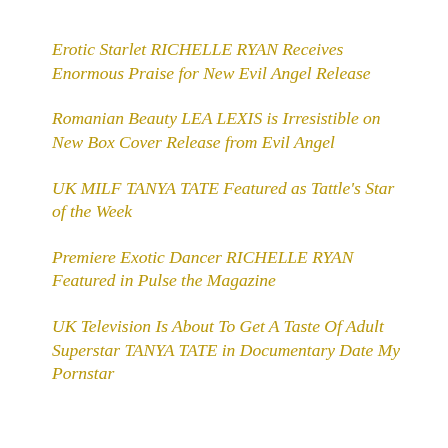Erotic Starlet RICHELLE RYAN Receives Enormous Praise for New Evil Angel Release
Romanian Beauty LEA LEXIS is Irresistible on New Box Cover Release from Evil Angel
UK MILF TANYA TATE Featured as Tattle's Star of the Week
Premiere Exotic Dancer RICHELLE RYAN Featured in Pulse the Magazine
UK Television Is About To Get A Taste Of Adult Superstar TANYA TATE in Documentary Date My Pornstar